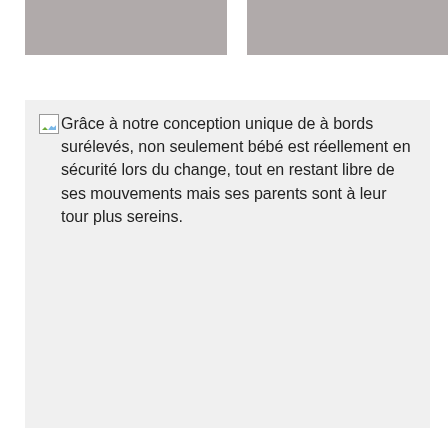[Figure (photo): Two gray placeholder image blocks side by side at top of page]
Grâce à notre conception unique de à bords surélevés, non seulement bébé est réellement en sécurité lors du change, tout en restant libre de ses mouvements mais ses parents sont à leur tour plus sereins.